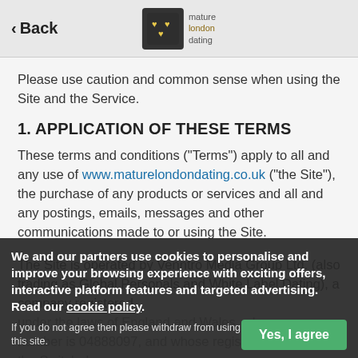< Back | mature london dating logo
Please use caution and common sense when using the Site and the Service.
1. APPLICATION OF THESE TERMS
These terms and conditions ("Terms") apply to all and any use of www.maturelondondating.co.uk ("the Site"), the purchase of any products or services and all and any postings, emails, messages and other communications made to or using the Site.
The Site is operated by Venntro Media Group Ltd. (also trading as Global Personals and White Label Dating), a company registered under the laws of England and Wales, whose company number is 04888097, and whose registered office is the Switch, Lane, Guildford, Surrey, GU1 1QB United Kingdom ("us"; "we", "Venntro Media Group").
The best way to contact us is through the Contact Us facility on the
We and our partners use cookies to personalise and improve your browsing experience with exciting offers, interactive platform features and targeted advertising. Read our cookie policy.
If you do not agree then please withdraw from using this site.